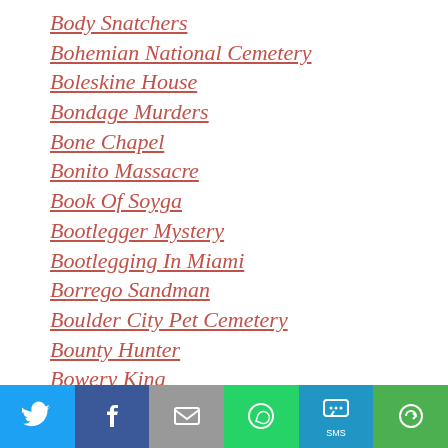Body Snatchers
Bohemian National Cemetery
Boleskine House
Bondage Murders
Bone Chapel
Bonito Massacre
Book Of Soyga
Bootlegger Mystery
Bootlegging In Miami
Borrego Sandman
Boulder City Pet Cemetery
Bounty Hunter
Bowery King
Boxer Rebellion
Bram Stoker
Branum Murders